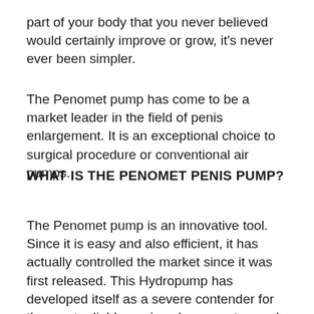part of your body that you never believed would certainly improve or grow, it's never ever been simpler.
The Penomet pump has come to be a market leader in the field of penis enlargement. It is an exceptional choice to surgical procedure or conventional air pumps.
WHAT IS THE PENOMET PENIS PUMP?
The Penomet pump is an innovative tool. Since it is easy and also efficient, it has actually controlled the market since it was first released. This Hydropump has developed itself as a severe contender for the most reliable penis enlargement remedy readily available on the marketplace today,